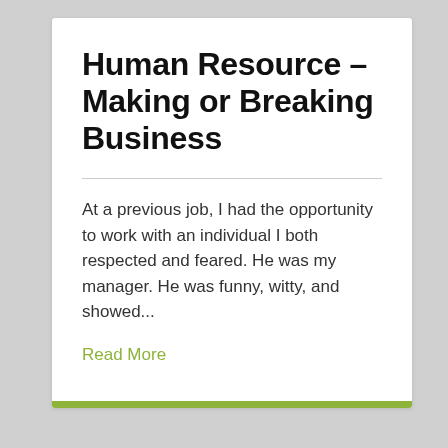Human Resource – Making or Breaking Business
At a previous job, I had the opportunity to work with an individual I both respected and feared. He was my manager. He was funny, witty, and showed...
Read More